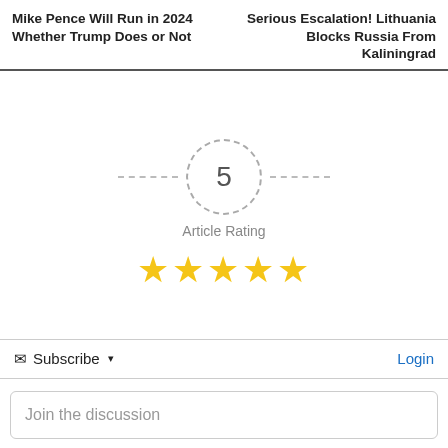Mike Pence Will Run in 2024 Whether Trump Does or Not
Serious Escalation! Lithuania Blocks Russia From Kaliningrad
[Figure (infographic): Article rating widget showing the number 5 inside a dashed circle with dashed lines extending left and right, the label 'Article Rating' below, and five gold stars beneath that.]
Subscribe
Login
Join the discussion